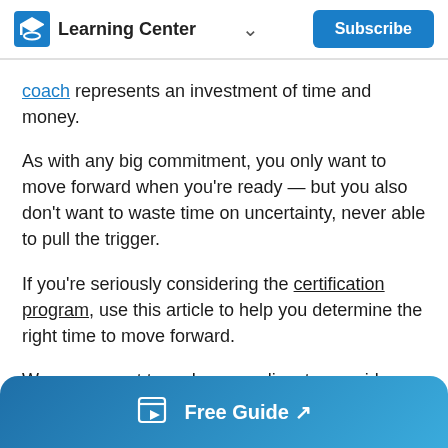Learning Center  ∨  Subscribe
coach represents an investment of time and money.
As with any big commitment, you only want to move forward when you're ready — but you also don't want to waste time on uncertainty, never able to pull the trigger.
If you're seriously considering the certification program, use this article to help you determine the right time to move forward.
We never want to rush our applicants or guide
Free Guide ↗